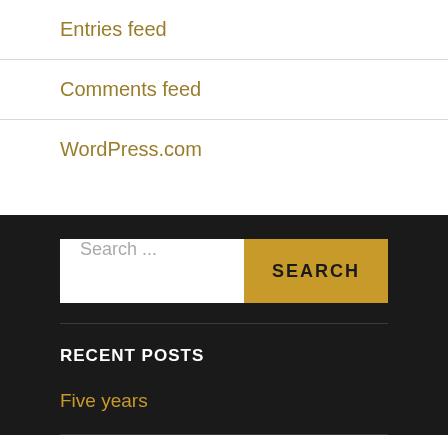Entries feed
Comments feed
WordPress.com
Search ...
RECENT POSTS
Five years